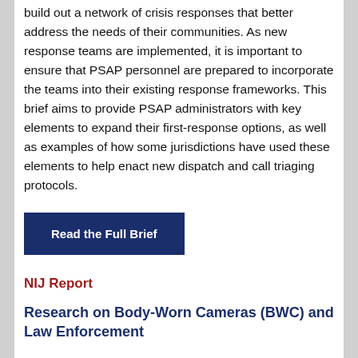build out a network of crisis responses that better address the needs of their communities.  As new response teams are implemented, it is important to ensure that PSAP personnel are prepared to incorporate the teams into their existing response frameworks.  This brief aims to provide PSAP administrators with key elements to expand their first-response options, as well as examples of how some jurisdictions have used these elements to help enact new dispatch and call triaging protocols.
Read the Full Brief
NIJ Report
Research on Body-Worn Cameras (BWC) and Law Enforcement
Published by the National Institute of Justice (NIJ), this report discusses several studies and data collected on body cameras in this country.  Body...